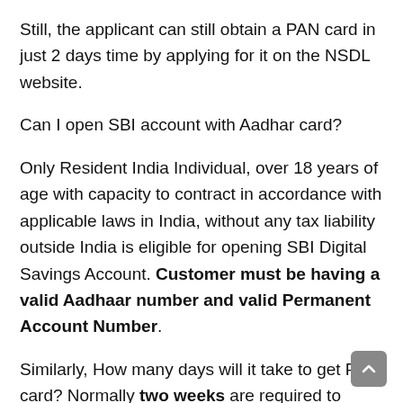Still, the applicant can still obtain a PAN card in just 2 days time by applying for it on the NSDL website.
Can I open SBI account with Aadhar card?
Only Resident India Individual, over 18 years of age with capacity to contract in accordance with applicable laws in India, without any tax liability outside India is eligible for opening SBI Digital Savings Account. Customer must be having a valid Aadhaar number and valid Permanent Account Number.
Similarly, How many days will it take to get PAN card? Normally two weeks are required to process the application & dispatch the PAN card, provided application is in order in all respects.